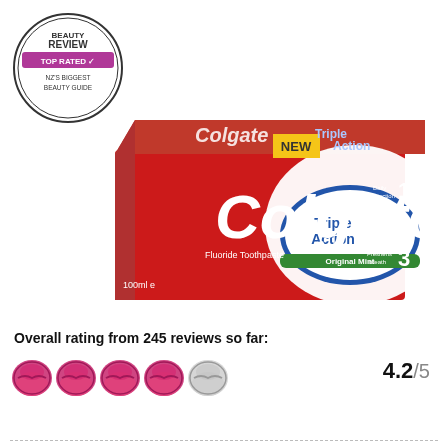[Figure (photo): Colgate Triple Action Fluoride Toothpaste 100ml box, with Beauty Review Top Rated NZ's Biggest Beauty Guide badge in top left corner. Red and white box with Colgate branding, Triple Action Original Mint label, NEW tag, and numbered benefits 1, 2, 3.]
Overall rating from 245 reviews so far:
[Figure (other): Star rating display showing 4.2 out of 5 using pink/magenta lip-shaped icons - approximately 4 full pink lips and 1 partial grey lip icon, followed by score 4.2/5]